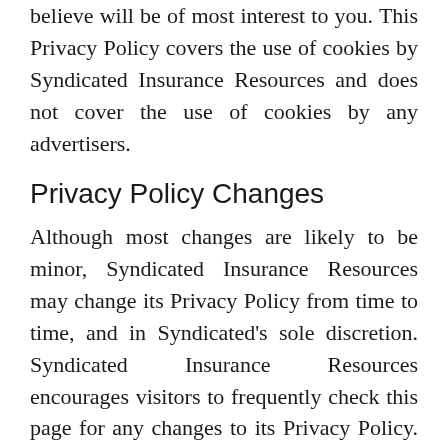believe will be of most interest to you. This Privacy Policy covers the use of cookies by Syndicated Insurance Resources and does not cover the use of cookies by any advertisers.
Privacy Policy Changes
Although most changes are likely to be minor, Syndicated Insurance Resources may change its Privacy Policy from time to time, and in Syndicated's sole discretion. Syndicated Insurance Resources encourages visitors to frequently check this page for any changes to its Privacy Policy. If you have a syndicatedinsuranceresources.com account, you might also receive an alert informing you of these changes. Your continued use of this site after any change in this Privacy Policy will